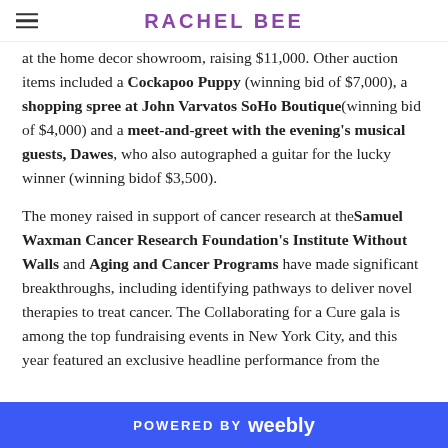RACHEL BEE
at the home decor showroom, raising $11,000. Other auction items included a Cockapoo Puppy (winning bid of $7,000), a shopping spree at John Varvatos SoHo Boutique(winning bid of $4,000) and a meet-and-greet with the evening's musical guests, Dawes, who also autographed a guitar for the lucky winner (winning bid of $3,500).
The money raised in support of cancer research at the Samuel Waxman Cancer Research Foundation's Institute Without Walls and Aging and Cancer Programs have made significant breakthroughs, including identifying pathways to deliver novel therapies to treat cancer. The Collaborating for a Cure gala is among the top fundraising events in New York City, and this year featured an exclusive headline performance from the
POWERED BY weebly